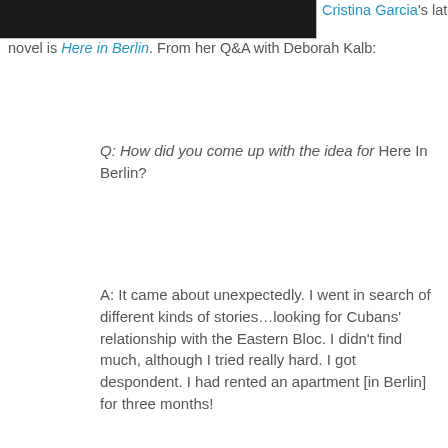[Figure (photo): Dark photograph, partially visible at top of page, cropped]
Cristina Garcia's latest novel is Here in Berlin. From her Q&A with Deborah Kalb:
Q: How did you come up with the idea for Here In Berlin?
A: It came about unexpectedly. I went in search of different kinds of stories…looking for Cubans' relationship with the Eastern Bloc. I didn't find much, although I tried really hard. I got despondent. I had rented an apartment [in Berlin] for three months!
Then I just got seduced by the city, the archaeology, and its ghosts, people in the interstices of history. It became its own thing. It evolved very slowly. It became a crazy historical excavation though it takes place in the present time.
Q: The novel features a visitor in Berlin and the various characters she encounters. How did you